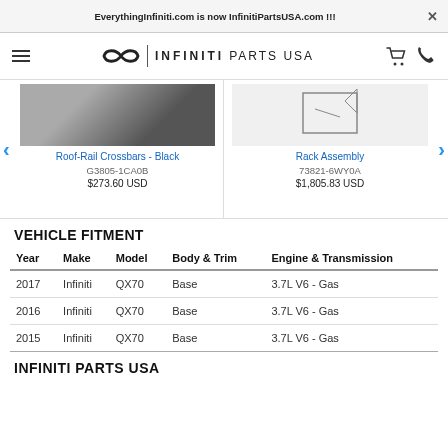EverythingInfiniti.com is now InfinitiPartsUSA.com !!!
[Figure (logo): Infiniti Parts USA logo with infinity symbol and hamburger menu]
[Figure (photo): Roof-Rail Crossbars - Black product image]
Roof-Rail Crossbars - Black
G3805-1CA0B
$273.60 USD
[Figure (illustration): Rack Assembly product diagram]
Rack Assembly
73821-6WY0A
$1,805.83 USD
VEHICLE FITMENT
| Year | Make | Model | Body & Trim | Engine & Transmission |
| --- | --- | --- | --- | --- |
| 2017 | Infiniti | QX70 | Base | 3.7L V6 - Gas |
| 2016 | Infiniti | QX70 | Base | 3.7L V6 - Gas |
| 2015 | Infiniti | QX70 | Base | 3.7L V6 - Gas |
INFINITI PARTS USA